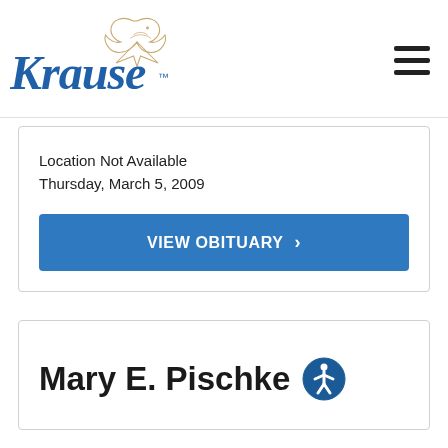[Figure (logo): Krause Funeral Home logo with cursive blue text and dove illustration]
Location Not Available
Thursday, March 5, 2009
VIEW OBITUARY >
Mary E. Pischke